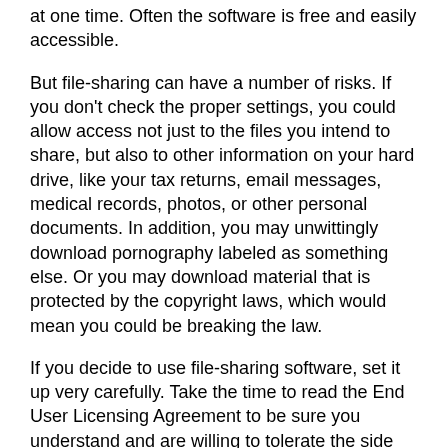at one time. Often the software is free and easily accessible.
But file-sharing can have a number of risks. If you don't check the proper settings, you could allow access not just to the files you intend to share, but also to other information on your hard drive, like your tax returns, email messages, medical records, photos, or other personal documents. In addition, you may unwittingly download pornography labeled as something else. Or you may download material that is protected by the copyright laws, which would mean you could be breaking the law.
If you decide to use file-sharing software, set it up very carefully. Take the time to read the End User Licensing Agreement to be sure you understand and are willing to tolerate the side effects of any free downloads.
SPYWARE
Many free downloads - whether from peers or businesses - come with potentially undesirable side effects. Spyware is software installed without your knowledge or consent that adversely affects your ability to use your computer, sometimes by monitoring or